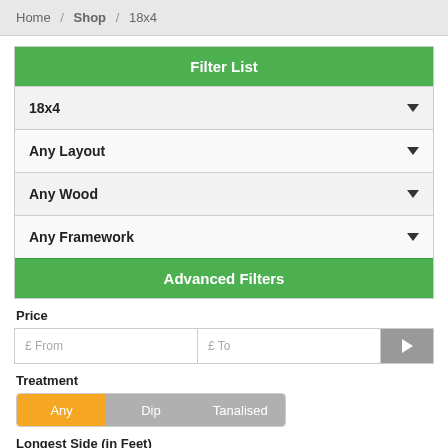Home / Shop / 18x4
Filter List
18x4
Any Layout
Any Wood
Any Framework
Advanced Filters
Price
£ From   £ To
Treatment
Any   Dip   Tanalised
Longest Side (in Feet)